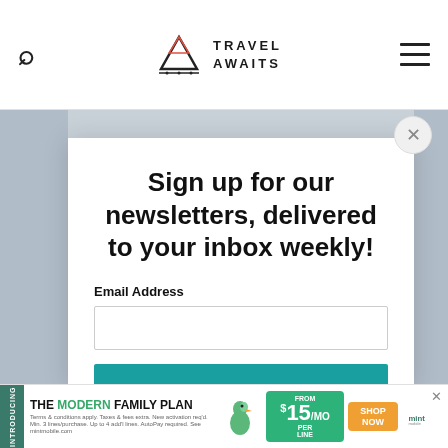Travel Awaits
Sign up for our newsletters, delivered to your inbox weekly!
Email Address
SIGN ME UP!
[Figure (infographic): Mint Mobile advertisement banner: 'INTRODUCING THE MODERN FAMILY PLAN FROM $15/MO PER LINE SHOP NOW' with bird graphic and mint mobile logo]